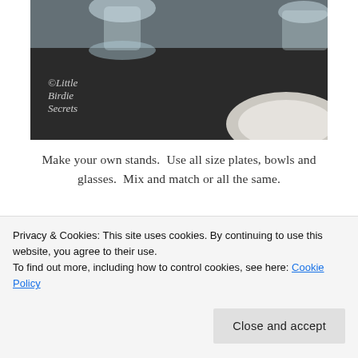[Figure (photo): Photo of glass bowls and a white plate on a dark table with '©Little Birdie Secrets' watermark]
Make your own stands.  Use all size plates, bowls and glasses.  Mix and match or all the same.
[Figure (photo): Photo of white powdery substance in a bowl with small teal/blue balls on top, metallic background]
Privacy & Cookies: This site uses cookies. By continuing to use this website, you agree to their use.
To find out more, including how to control cookies, see here: Cookie Policy
Close and accept